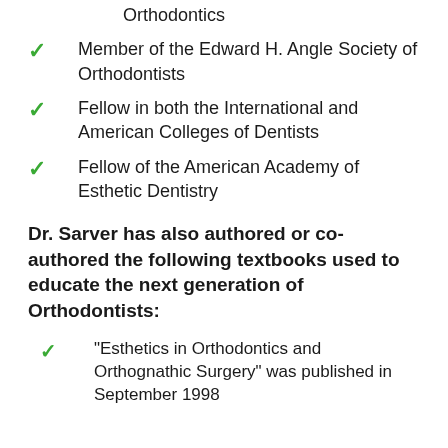Orthodontics
Member of the Edward H. Angle Society of Orthodontists
Fellow in both the International and American Colleges of Dentists
Fellow of the American Academy of Esthetic Dentistry
Dr. Sarver has also authored or co-authored the following textbooks used to educate the next generation of Orthodontists:
"Esthetics in Orthodontics and Orthognathic Surgery" was published in September 1998